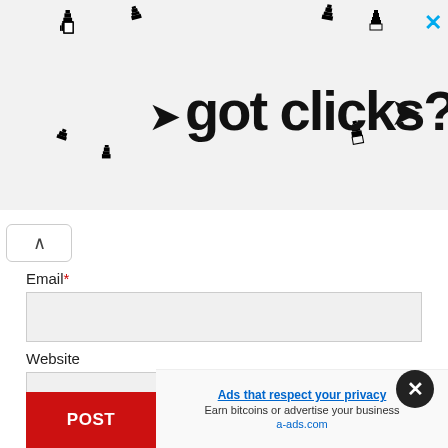[Figure (illustration): Advertisement banner showing 'got clicks?' text with pixel-art cursor/hand icons around it and a blue X close button in the top right]
Email*
Website
Save my name, email, and website in this browser for the next time I comment.
POST COMMENT
Ads that respect your privacy
Earn bitcoins or advertise your business
a-ads.com